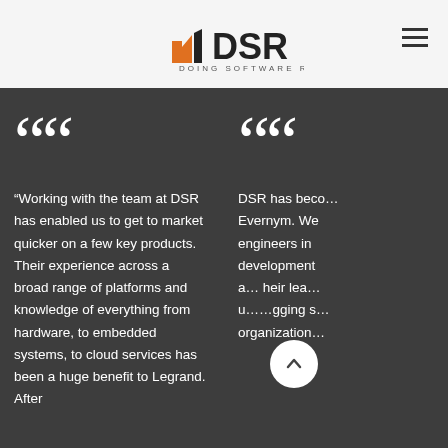[Figure (logo): DSR (Doing Software Right) company logo with orange/black building icon]
“Working with the team at DSR has enabled us to get to market quicker on a few key products. Their experience across a broad range of platforms and knowledge of everything from hardware, to embedded systems, to cloud services has been a huge benefit to Legrand. After
DSR has beco… Evernym. We… engineers in… development… a… heir lea… u…gging s… organization…